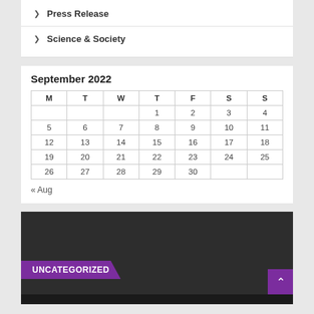Press Release
Science & Society
September 2022
| M | T | W | T | F | S | S |
| --- | --- | --- | --- | --- | --- | --- |
|  |  |  | 1 | 2 | 3 | 4 |
| 5 | 6 | 7 | 8 | 9 | 10 | 11 |
| 12 | 13 | 14 | 15 | 16 | 17 | 18 |
| 19 | 20 | 21 | 22 | 23 | 24 | 25 |
| 26 | 27 | 28 | 29 | 30 |  |  |
« Aug
UNCATEGORIZED